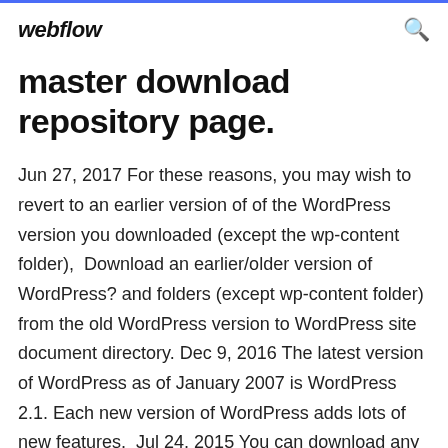webflow
master download repository page.
Jun 27, 2017 For these reasons, you may wish to revert to an earlier version of of the WordPress version you downloaded (except the wp-content folder),  Download an earlier/older version of WordPress? and folders (except wp-content folder) from the old WordPress version to WordPress site document directory. Dec 9, 2016 The latest version of WordPress as of January 2007 is WordPress 2.1. Each new version of WordPress adds lots of new features,  Jul 24, 2015 You can download any of the previous WordPress versions here Step 5: Transfer The